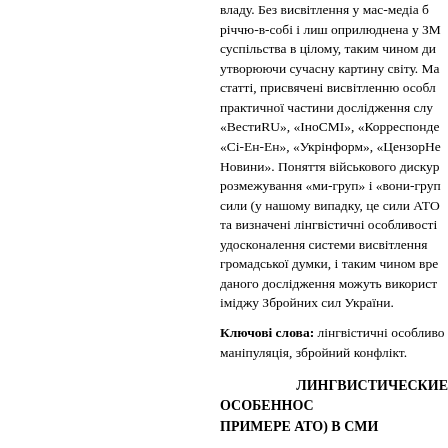владу. Без висвітлення у мас-медіа б річчю-в-собі і лиш оприлюднена у ЗМ суспільства в цілому, таким чином ди утворюючи сучасну картину світу. Ма статті, присвячені висвітленню особл практичної частини дослідження слу «ВестиRU», «ІноСМІ», «Корреспонде «Сі-Ен-Ен», «Укрінформ», «ЦензорНе Новини». Поняття військового дискур розмежування «ми-груп» і «вони-гру сили (у нашому випадку, це сили АТО та визначені лінгвістичні особливості удосконалення системи висвітлення громадської думки, і таким чином вре даного дослідження можуть використ іміджу Збройних сил України.
Ключові слова: лінгвістичні особливо маніпуляція, збройний конфлікт.
ЛИНГВИСТИЧЕСКИЕ ОСОБЕННОС ПРИМЕРЕ АТО) В СМИ
Автор статьи поддерживает мнение, распространено укоренившееся в ХХ